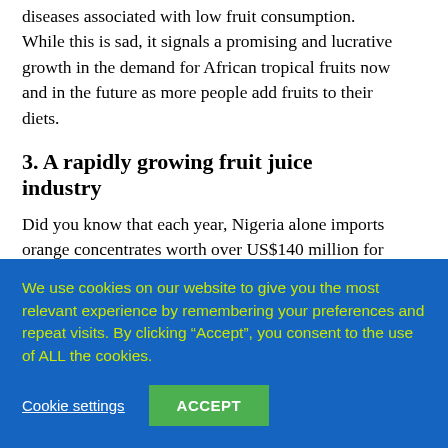diseases associated with low fruit consumption. While this is sad, it signals a promising and lucrative growth in the demand for African tropical fruits now and in the future as more people add fruits to their diets.
3. A rapidly growing fruit juice industry
Did you know that each year, Nigeria alone imports orange concentrates worth over US$140 million for local fruit juice production? The global market for fruit and vegetable juices is growing fast and is forecast to exceed 79 billion litres by the year 2017.
We use cookies on our website to give you the most relevant experience by remembering your preferences and repeat visits. By clicking “Accept”, you consent to the use of ALL the cookies.
Cookie settings
ACCEPT